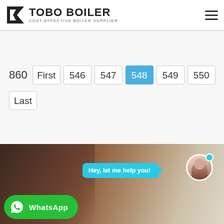TOBO BOILER — COST-EFFECTIVE BOILER SUPPLIER
860  First  546  547  548  549  550  Last
[Figure (screenshot): Bottom section showing a woman's face blurred in background with a cyan chat bubble saying 'Hey, let me help you!', a customer service avatar, and a green WhatsApp button.]